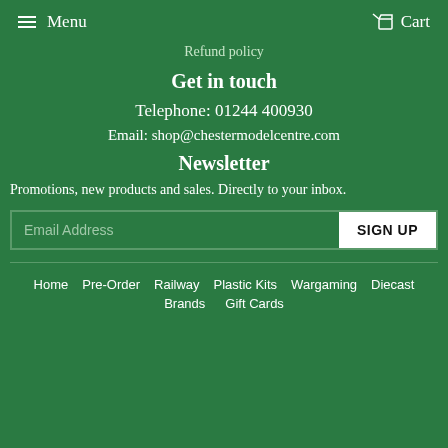Menu   Cart
Refund policy
Get in touch
Telephone: 01244 400930
Email: shop@chestermodelcentre.com
Newsletter
Promotions, new products and sales. Directly to your inbox.
Email Address  SIGN UP
Home  Pre-Order  Railway  Plastic Kits  Wargaming  Diecast  Brands  Gift Cards